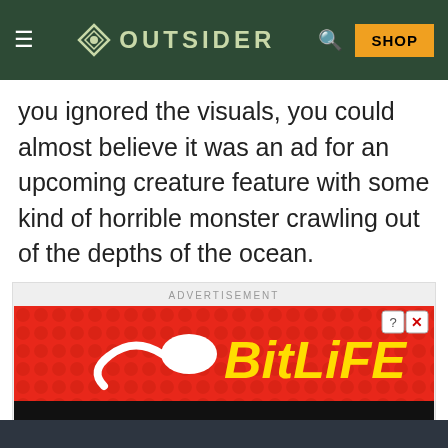OUTSIDER
you ignored the visuals, you could almost believe it was an ad for an upcoming creature feature with some kind of horrible monster crawling out of the depths of the ocean.
[Figure (screenshot): BitLife advertisement banner reading 'START A NEW LIFE' with FAIL text and cartoon character, on a red dotted background]